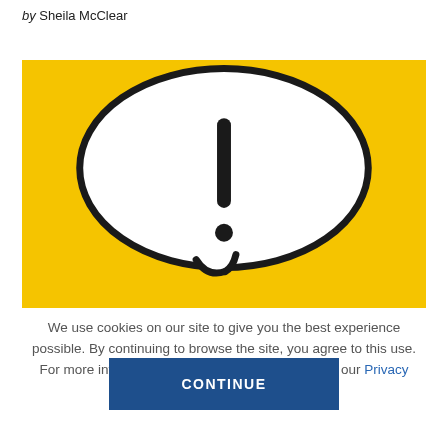by Sheila McClear
[Figure (photo): Photo of a white speech bubble with an exclamation mark on a yellow background]
We use cookies on our site to give you the best experience possible. By continuing to browse the site, you agree to this use. For more information on how we use cookies, see our Privacy Policy.
CONTINUE